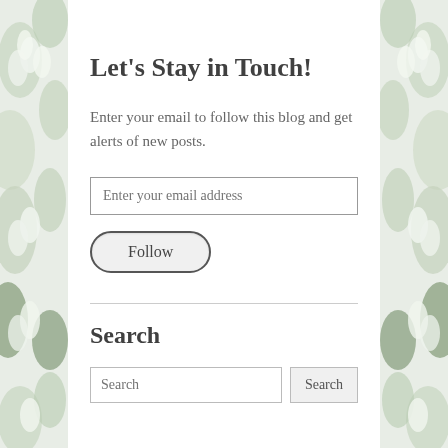Let's Stay in Touch!
Enter your email to follow this blog and get alerts of new posts.
Enter your email address
Follow
Search
Search